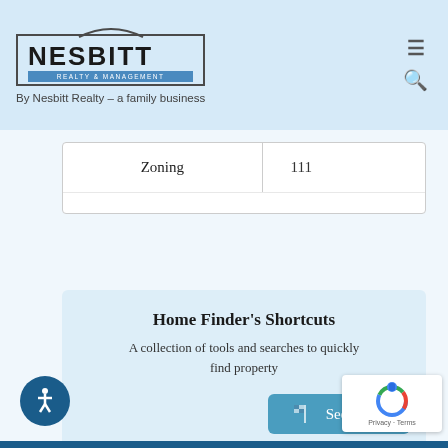[Figure (logo): Nesbitt Realty & Management logo with arch above text and blue subband]
By Nesbitt Realty – a family business
| Zoning | 111 |
Home Finder's Shortcuts
A collection of tools and searches to quickly find property
See Tools